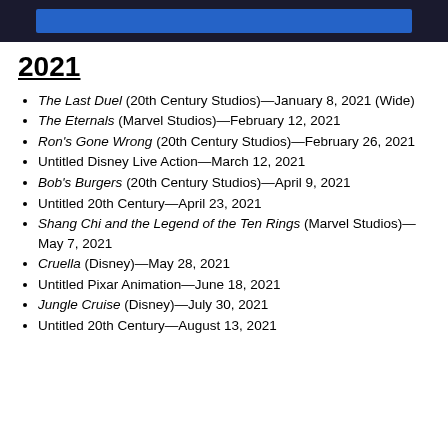[Figure (other): Dark header bar with blue highlighted button/bar element]
2021
The Last Duel (20th Century Studios)—January 8, 2021 (Wide)
The Eternals (Marvel Studios)—February 12, 2021
Ron's Gone Wrong (20th Century Studios)—February 26, 2021
Untitled Disney Live Action—March 12, 2021
Bob's Burgers (20th Century Studios)—April 9, 2021
Untitled 20th Century—April 23, 2021
Shang Chi and the Legend of the Ten Rings (Marvel Studios)—May 7, 2021
Cruella (Disney)—May 28, 2021
Untitled Pixar Animation—June 18, 2021
Jungle Cruise (Disney)—July 30, 2021
Untitled 20th Century—August 13, 2021